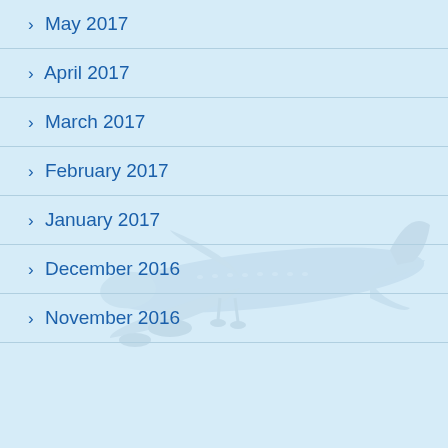> May 2017
> April 2017
> March 2017
> February 2017
> January 2017
> December 2016
> November 2016
[Figure (photo): Faint watermark-style photo of a large commercial aircraft (Boeing 747-style) in flight, viewed from below-side angle, rendered in pale blue tones blending into the light blue background.]